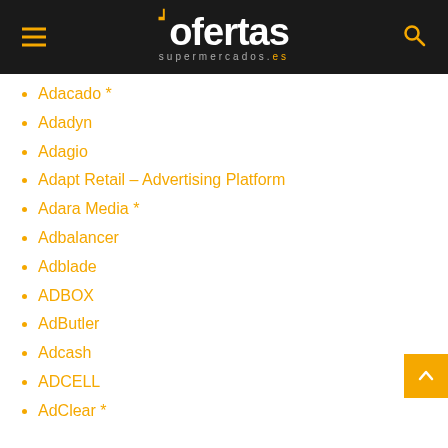ofertas supermercados.es
Adacado *
Adadyn
Adagio
Adapt Retail – Advertising Platform
Adara Media *
Adbalancer
Adblade
ADBOX
AdButler
Adcash
ADCELL
AdClear *